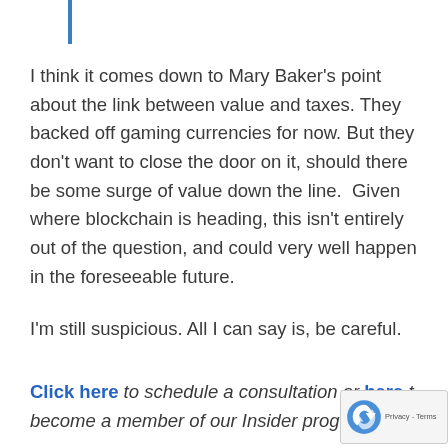I think it comes down to Mary Baker's point about the link between value and taxes. They backed off gaming currencies for now. But they don't want to close the door on it, should there be some surge of value down the line.  Given where blockchain is heading, this isn't entirely out of the question, and could very well happen in the foreseeable future.

I'm still suspicious. All I can say is, be careful.
Click here to schedule a consultation or here to become a member of our Insider program wher...